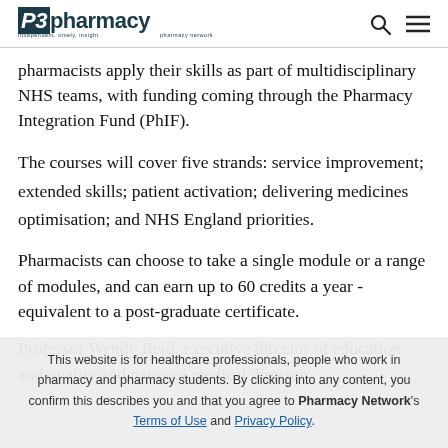P3pharmacy
pharmacists apply their skills as part of multidisciplinary NHS teams, with funding coming through the Pharmacy Integration Fund (PhIF).
The courses will cover five strands: service improvement; extended skills; patient activation; delivering medicines optimisation; and NHS England priorities.
Pharmacists can choose to take a single module or a range of modules, and can earn up to 60 credits a year - equivalent to a post-graduate certificate.
Professor Wendy Reid, executive director of education and quality and national medical director
This website is for healthcare professionals, people who work in pharmacy and pharmacy students. By clicking into any content, you confirm this describes you and that you agree to Pharmacy Network's Terms of Use and Privacy Policy.